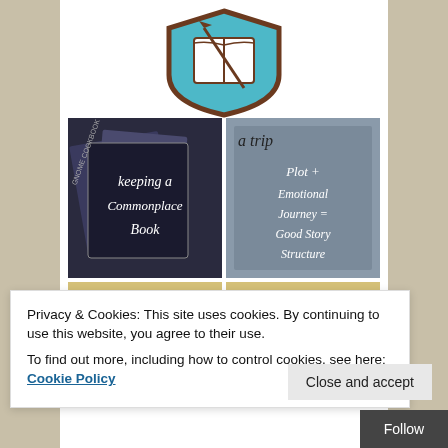[Figure (logo): Shield/badge logo with book and quill, teal background, brown border]
[Figure (photo): Image thumbnail: 'Keeping a Commonplace Book' dark notebook cover with handwritten text]
[Figure (photo): Image thumbnail: 'a trip Plot + Emotional Journey = Good Story Structure' gray/brown background with handwritten text]
[Figure (photo): Image thumbnail: partial view of 'my how Toasted Cheese' on tan background (left)]
[Figure (photo): Image thumbnail: partial view of 'my how Toasted Cheese' on tan background (right)]
Privacy & Cookies: This site uses cookies. By continuing to use this website, you agree to their use.
To find out more, including how to control cookies, see here: Cookie Policy
Close and accept
Follow